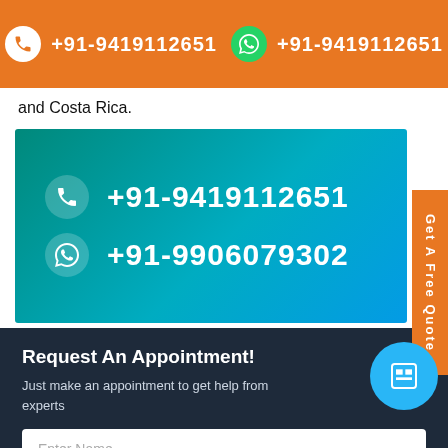+91-9419112651   +91-9419112651
and Costa Rica.
+91-9419112651
+91-9906079302
Get A Free Quote
Request An Appointment!
Just make an appointment to get help from experts
Enter Name
Enter Email
India (+91)